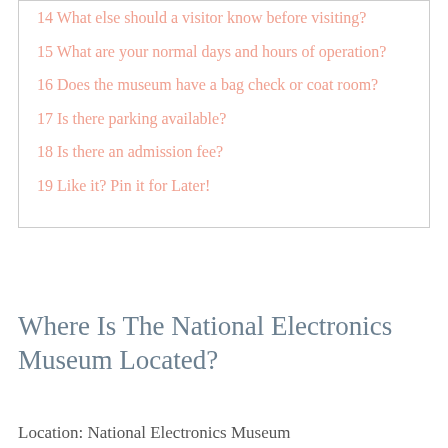14 What else should a visitor know before visiting?
15 What are your normal days and hours of operation?
16 Does the museum have a bag check or coat room?
17 Is there parking available?
18 Is there an admission fee?
19 Like it? Pin it for Later!
Where Is The National Electronics Museum Located?
Location: National Electronics Museum